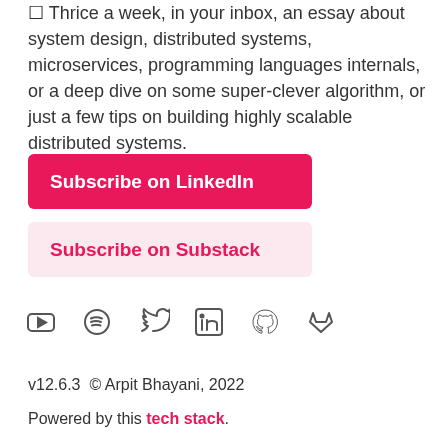☐ Thrice a week, in your inbox, an essay about system design, distributed systems, microservices, programming languages internals, or a deep dive on some super-clever algorithm, or just a few tips on building highly scalable distributed systems.
Subscribe on LinkedIn
Subscribe on Substack
[Figure (infographic): Social media icons: YouTube, Spotify, Twitter, LinkedIn, GitHub, GitLab]
v12.6.3  © Arpit Bhayani, 2022
Powered by this tech stack.